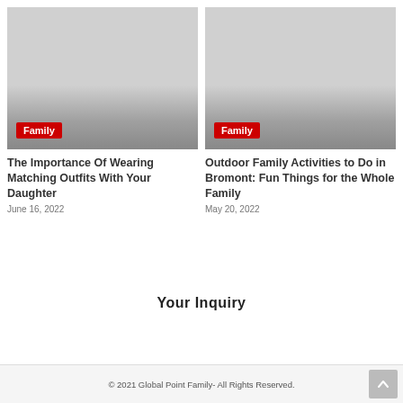[Figure (photo): Gray placeholder image for article about matching outfits with daughter, with Family category badge]
The Importance Of Wearing Matching Outfits With Your Daughter
June 16, 2022
[Figure (photo): Gray placeholder image for article about outdoor family activities in Bromont, with Family category badge]
Outdoor Family Activities to Do in Bromont: Fun Things for the Whole Family
May 20, 2022
Your Inquiry
© 2021 Global Point Family- All Rights Reserved.